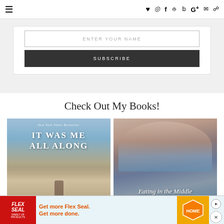Navigation bar with hamburger menu and social icons: heart, Instagram, Facebook, Pinterest, Twitter, Google+, email, RSS
ENTER YOUR NAME
SUBSCRIBE
Check Out My Books!
[Figure (photo): Book cover of 'It Was Me All Along' - New York Times Bestseller, showing a child standing at the ocean shore]
[Figure (photo): Book cover of 'Eating in the Middle' - A Mostly Wholesome Cookbook, showing a smiling woman in a plaid shirt]
[Figure (photo): Advertisement banner: Flex Seal 'Get more Flex Seal. Get more done.' with Home Depot logo]